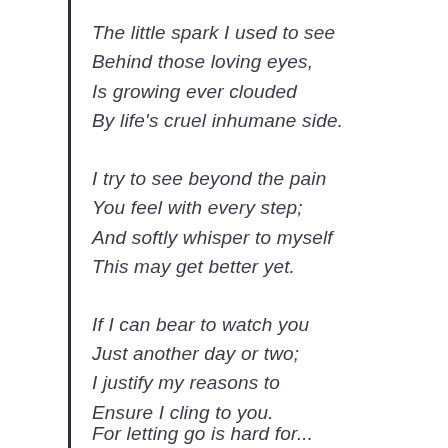The little spark I used to see
Behind those loving eyes,
Is growing ever clouded
By life's cruel inhumane side.
I try to see beyond the pain
You feel with every step;
And softly whisper to myself
This may get better yet.
If I can bear to watch you
Just another day or two;
I justify my reasons to
Ensure I cling to you.
For letting go is hard for...